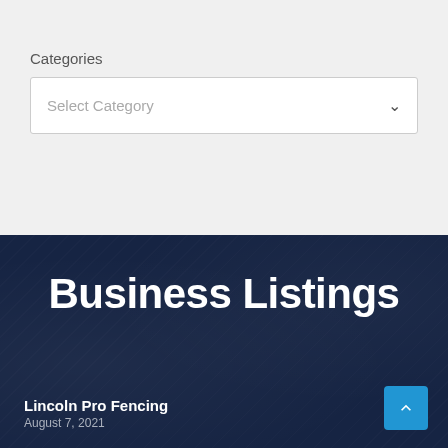Categories
Select Category
Business Listings
Lincoln Pro Fencing
August 7, 2021